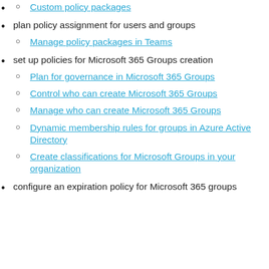Custom policy packages (link)
plan policy assignment for users and groups
Manage policy packages in Teams (link)
set up policies for Microsoft 365 Groups creation
Plan for governance in Microsoft 365 Groups (link)
Control who can create Microsoft 365 Groups (link)
Manage who can create Microsoft 365 Groups (link)
Dynamic membership rules for groups in Azure Active Directory (link)
Create classifications for Microsoft Groups in your organization (link)
configure an expiration policy for Microsoft 365 groups